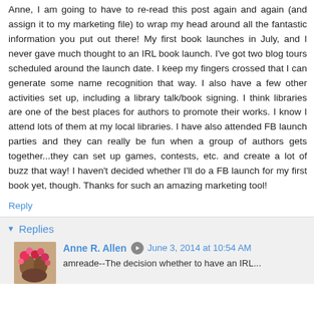Anne, I am going to have to re-read this post again and again (and assign it to my marketing file) to wrap my head around all the fantastic information you put out there! My first book launches in July, and I never gave much thought to an IRL book launch. I've got two blog tours scheduled around the launch date. I keep my fingers crossed that I can generate some name recognition that way. I also have a few other activities set up, including a library talk/book signing. I think libraries are one of the best places for authors to promote their works. I know I attend lots of them at my local libraries. I have also attended FB launch parties and they can really be fun when a group of authors gets together...they can set up games, contests, etc. and create a lot of buzz that way! I haven't decided whether I'll do a FB launch for my first book yet, though. Thanks for such an amazing marketing tool!
Reply
Replies
Anne R. Allen   June 3, 2014 at 10:54 AM
amreade--The decision whether to have an IRL...